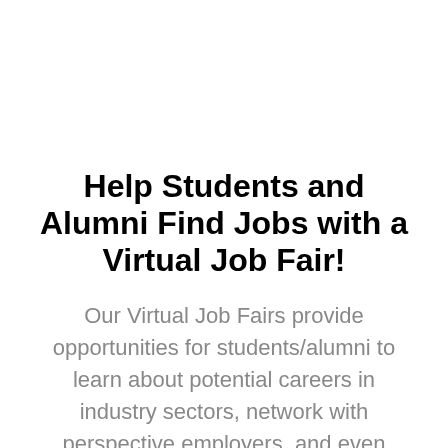Help Students and Alumni Find Jobs with a Virtual Job Fair!
Our Virtual Job Fairs provide opportunities for students/alumni to learn about potential careers in industry sectors, network with perspective employers, and even submit resumes to prospective employers all from the comfort of